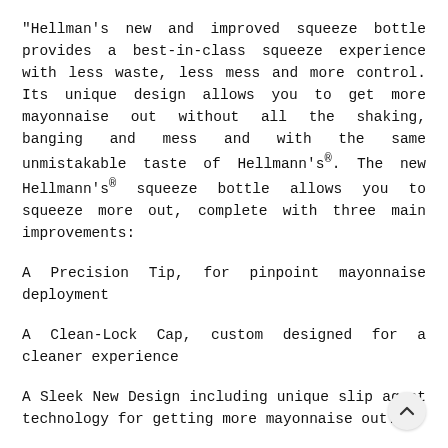"Hellman's new and improved squeeze bottle provides a best-in-class squeeze experience with less waste, less mess and more control. Its unique design allows you to get more mayonnaise out without all the shaking, banging and mess and with the same unmistakable taste of Hellmann's®. The new Hellmann's® squeeze bottle allows you to squeeze more out, complete with three main improvements:
A Precision Tip, for pinpoint mayonnaise deployment
A Clean-Lock Cap, custom designed for a cleaner experience
A Sleek New Design including unique slip agent technology for getting more mayonnaise out."